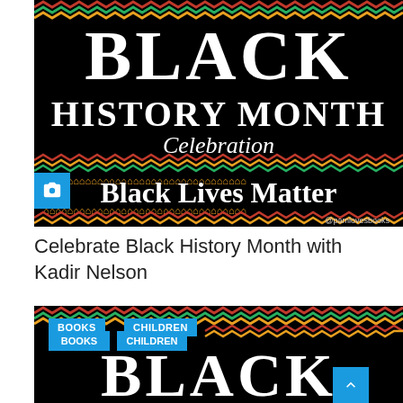[Figure (illustration): Black History Month Celebration graphic with 'BLACK HISTORY MONTH' in large white serif text, 'Celebration' in script, 'Black Lives Matter' in bold, decorative African-inspired zigzag border patterns in red, green, yellow on black background, camera icon overlay, @pamlovesbooks watermark]
Celebrate Black History Month with Kadir Nelson
[Figure (illustration): Second Black History Month graphic showing 'BLACK' text beginning to appear, with BOOKS and CHILDREN category tags, same decorative African-inspired border patterns on black background, scroll-to-top button]